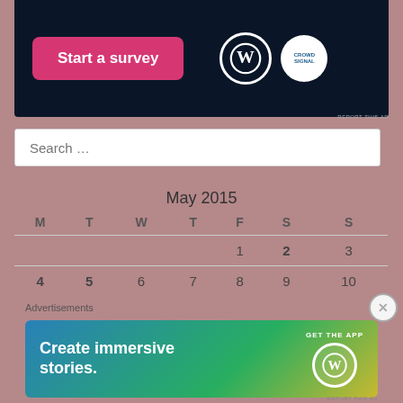[Figure (screenshot): Dark navy advertisement banner with pink 'Start a survey' button and WordPress plus Crowd Signal logos]
REPORT THIS AD
Search ...
May 2015
| M | T | W | T | F | S | S |
| --- | --- | --- | --- | --- | --- | --- |
|  |  |  |  | 1 | 2 | 3 |
| 4 | 5 | 6 | 7 | 8 | 9 | 10 |
Advertisements
[Figure (screenshot): Advertisement banner with blue-green gradient background, 'Create immersive stories.' text and 'GET THE APP' with WordPress logo]
REPORT THIS AD